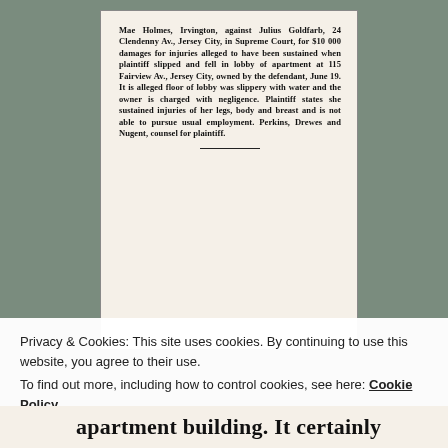Mae Holmes, Irvington, against Julius Goldfarb, 24 Clendenny Av., Jersey City, in Supreme Court, for $10,000 damages for injuries alleged to have been sustained when plaintiff slipped and fell in lobby of apartment at 115 Fairview Av., Jersey City, owned by the defendant, June 19. It is alleged floor of lobby was slippery with water and the owner is charged with negligence. Plaintiff states she sustained injuries of her legs, body and breast and is not able to pursue usual employment. Perkins, Drewes and Nugent, counsel for plaintiff.
Privacy & Cookies: This site uses cookies. By continuing to use this website, you agree to their use.
To find out more, including how to control cookies, see here: Cookie Policy
apartment building. It certainly